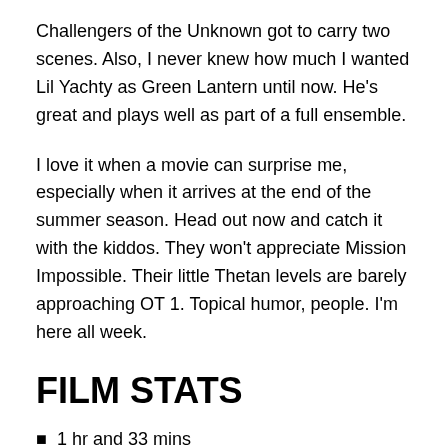Challengers of the Unknown got to carry two scenes. Also, I never knew how much I wanted Lil Yachty as Green Lantern until now. He's great and plays well as part of a full ensemble.
I love it when a movie can surprise me, especially when it arrives at the end of the summer season. Head out now and catch it with the kiddos. They won't appreciate Mission Impossible. Their little Thetan levels are barely approaching OT 1. Topical humor, people. I'm here all week.
FILM STATS
1 hr and 33 mins